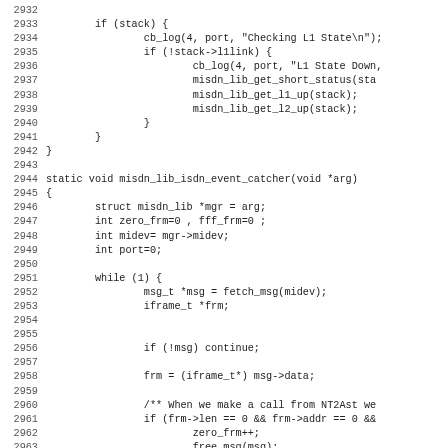[Figure (other): Source code listing in C, lines 2932-2963, showing a function fragment ending with a closing brace and a new static function misdn_lib_isdn_event_catcher(void *arg) with variable declarations and a while(1) loop.]